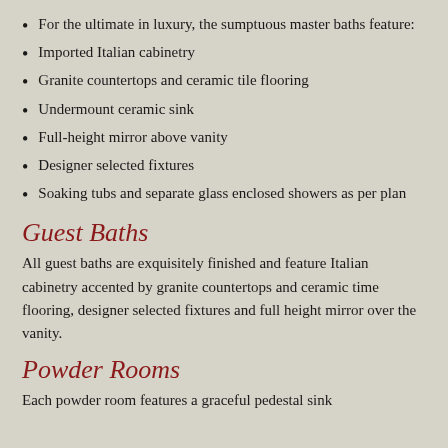For the ultimate in luxury, the sumptuous master baths feature:
Imported Italian cabinetry
Granite countertops and ceramic tile flooring
Undermount ceramic sink
Full-height mirror above vanity
Designer selected fixtures
Soaking tubs and separate glass enclosed showers as per plan
Guest Baths
All guest baths are exquisitely finished and feature Italian cabinetry accented by granite countertops and ceramic time flooring, designer selected fixtures and full height mirror over the vanity.
Powder Rooms
Each powder room features a graceful pedestal sink